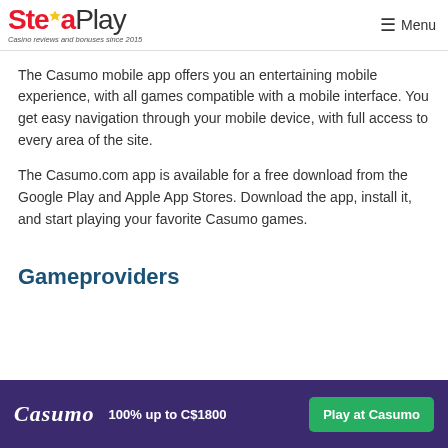StellaPlay — Casino reviews and bonuses since 2015 | Menu
The Casumo mobile app offers you an entertaining mobile experience, with all games compatible with a mobile interface. You get easy navigation through your mobile device, with full access to every area of the site.
The Casumo.com app is available for a free download from the Google Play and Apple App Stores. Download the app, install it, and start playing your favorite Casumo games.
Gameproviders
Casumo | 100% up to C$1800 | Play at Casumo